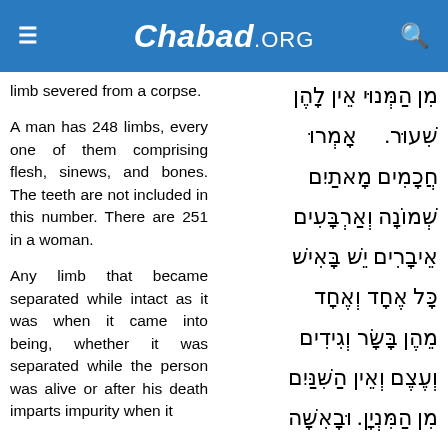Chabad.ORG
limb severed from a corpse.
A man has 248 limbs, every one of them comprising flesh, sinews, and bones. The teeth are not included in this number. There are 251 in a woman.
Any limb that became separated while intact as it was when it came into being, whether it was separated while the person was alive or after his death imparts impurity when it
Hebrew text column with corresponding original text